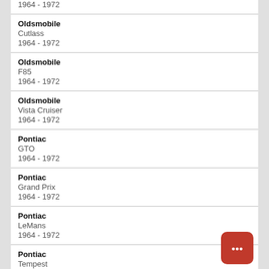1964 - 1972 (partial, top cut off)
Oldsmobile
Cutlass
1964 - 1972
Oldsmobile
F85
1964 - 1972
Oldsmobile
Vista Cruiser
1964 - 1972
Pontiac
GTO
1964 - 1972
Pontiac
Grand Prix
1964 - 1972
Pontiac
LeMans
1964 - 1972
Pontiac
Tempest